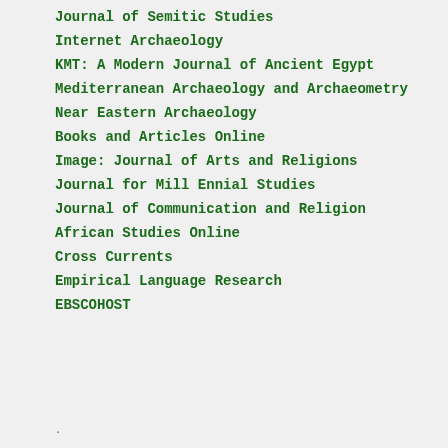Journal of Semitic Studies
Internet Archaeology
KMT: A Modern Journal of Ancient Egypt
Mediterranean Archaeology and Archaeometry
Near Eastern Archaeology
Books and Articles Online
Image: Journal of Arts and Religions
Journal for Mill Ennial Studies
Journal of Communication and Religion
African Studies Online
Cross Currents
Empirical Language Research
EBSCOHOST
.